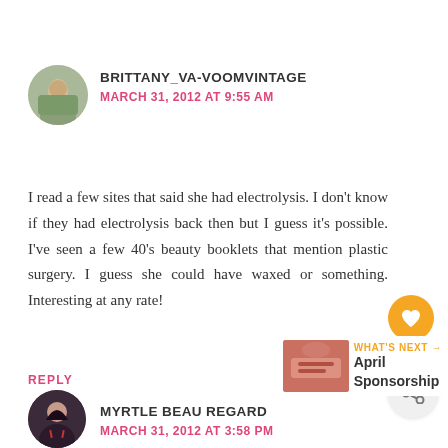[Figure (photo): Avatar photo of Brittany_Va-VoomVintage, a person sitting outdoors]
BRITTANY_VA-VOOMVINTAGE
MARCH 31, 2012 AT 9:55 AM
I read a few sites that said she had electrolysis. I don't know if they had electrolysis back then but I guess it's possible. I've seen a few 40's beauty booklets that mention plastic surgery. I guess she could have waxed or something. Interesting at any rate!
REPLY
[Figure (photo): Avatar photo of Myrtle Beau Regard, a woman with dark hair]
MYRTLE BEAU REGARD
MARCH 31, 2012 AT 3:58 PM